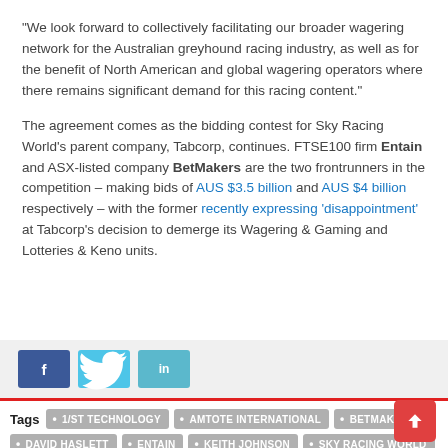“We look forward to collectively facilitating our broader wagering network for the Australian greyhound racing industry, as well as for the benefit of North American and global wagering operators where there remains significant demand for this racing content.”
The agreement comes as the bidding contest for Sky Racing World’s parent company, Tabcorp, continues. FTSE100 firm Entain and ASX-listed company BetMakers are the two frontrunners in the competition – making bids of AUS $3.5 billion and AUS $4 billion respectively – with the former recently expressing ‘disappointment’ at Tabcorp’s decision to demerge its Wagering & Gaming and Lotteries & Keno units.
[Figure (other): Social share buttons: Facebook, Twitter, LinkedIn]
1/ST TECHNOLOGY
AMTOTE INTERNATIONAL
BETMAKERS
DAVID HASLETT
ENTAIN
KEITH JOHNSON
SKY RACING WORLD
TABCORP